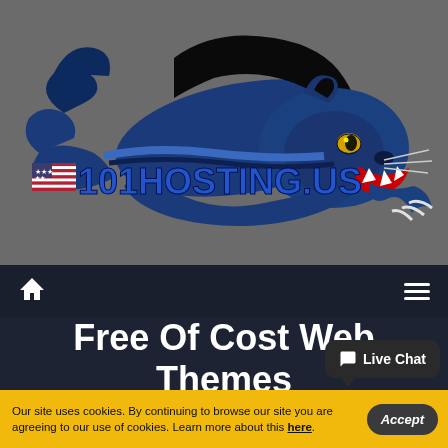[Figure (logo): 101HOSTING.US logo featuring a blue panther mascot lunging forward with claws extended, with a US flag icon and the text '101HOSTING.US' in blue bold lettering on a dark grey background.]
Home icon | Hamburger menu
Free Of Cost Web Themes
Live Chat
Our site uses cookies. By continuing to browse our site you are agreeing to our use of cookies. Learn more about this here.